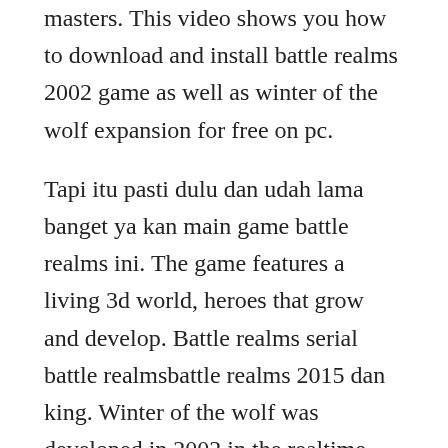masters. This video shows you how to download and install battle realms 2002 game as well as winter of the wolf expansion for free on pc.
Tapi itu pasti dulu dan udah lama banget ya kan main game battle realms ini. The game features a living 3d world, heroes that grow and develop. Battle realms serial battle realmsbattle realms 2015 dan king. Winter of the wolf was developed in 2002 in the realtime strategy genre by the developer liquid entertainmentcrave for the platform windows pc. Thus, military buildings in battle realms